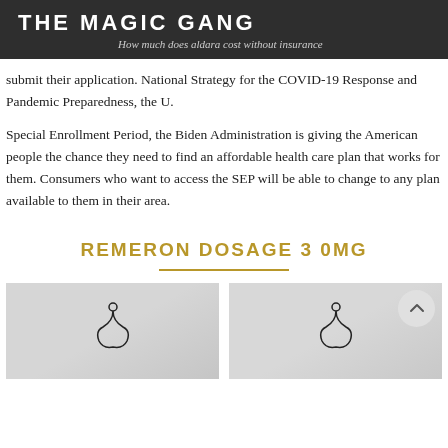THE MAGIC GANG
How much does aldara cost without insurance
submit their application. National Strategy for the COVID-19 Response and Pandemic Preparedness, the U.
Special Enrollment Period, the Biden Administration is giving the American people the chance they need to find an affordable health care plan that works for them. Consumers who want to access the SEP will be able to change to any plan available to them in their area.
REMERON DOSAGE 3 0MG
[Figure (photo): Two clothing hanger photographs side by side on light grey background]
[Figure (photo): Clothing hangers on light grey background with back-to-top arrow circle button]